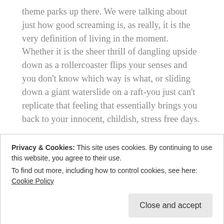theme parks up there. We were talking about just how good screaming is, as really, it is the very definition of living in the moment. Whether it is the sheer thrill of dangling upside down as a rollercoaster flips your senses and you don't know which way is what, or sliding down a giant waterslide on a raft-you just can't replicate that feeling that essentially brings you back to your innocent, childish, stress free days.
I reunited with this feeling a few weeks ago when I went away with my sister's family to Moama. They had recently purchased a very fine speed boat that we all ventured out in. At first we did admire the beautiful nature of the...
Privacy & Cookies: This site uses cookies. By continuing to use this website, you agree to their use.
To find out more, including how to control cookies, see here: Cookie Policy
there is the old port at Echuca, a place I truly love. Even